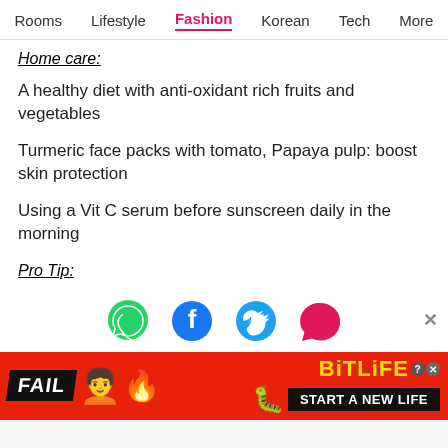Rooms  Lifestyle  Fashion  Korean  Tech  More
Home care:
A healthy diet with anti-oxidant rich fruits and vegetables
Turmeric face packs with tomato, Papaya pulp: boost skin protection
Using a Vit C serum before sunscreen daily in the morning
Pro Tip:
[Figure (infographic): Social share icons: WhatsApp (green), Facebook (blue), Twitter (blue), Chat/message (pink)]
[Figure (infographic): BitLife advertisement banner: FAIL text on black, animated person graphic, flame graphic, sperm mascot logo, BiTLiFE text in yellow, START A NEW LIFE black button on red background]